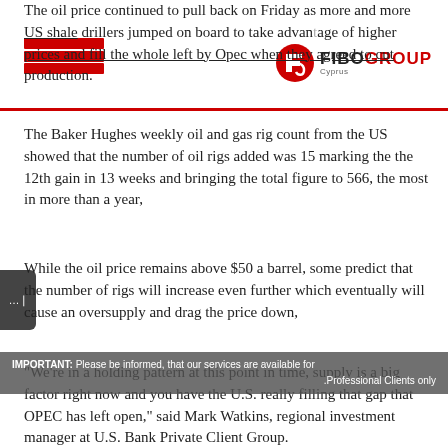FIBOGROUP Cyprus
The oil price continued to pull back on Friday as more and more US shale drillers jumped on board to take advantage of higher prices and fill the whole left by Opec when they agreed to cut production.
The Baker Hughes weekly oil and gas rig count from the US showed that the number of oil rigs added was 15 marking the the 12th gain in 13 weeks and bringing the total figure to 566, the most in more than a year,
While the oil price remains above $50 a barrel, some predict that the number of rigs will increase even further which eventually will cause an oversupply and drag the price down,
"We're in a holding pattern at this point in time, supply is a big factor right now and you have the U.S. really filling that gap that OPEC has left open," said Mark Watkins, regional investment manager at U.S. Bank Private Client Group.
IMPORTANT: Please be informed, that our services are available for Professional Clients only